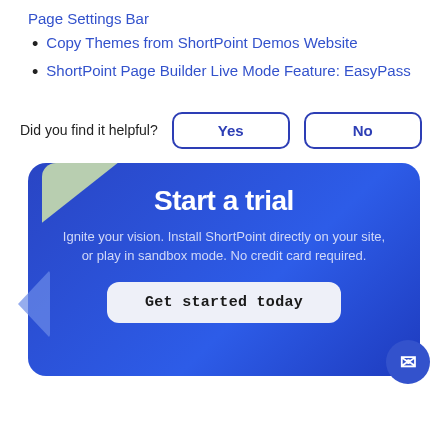Page Settings Bar
Copy Themes from ShortPoint Demos Website
ShortPoint Page Builder Live Mode Feature: EasyPass
Did you find it helpful?
[Figure (infographic): Start a trial card with title 'Start a trial', description 'Ignite your vision. Install ShortPoint directly on your site, or play in sandbox mode. No credit card required.', and a 'Get started today' button. Blue gradient background with decorative shapes.]